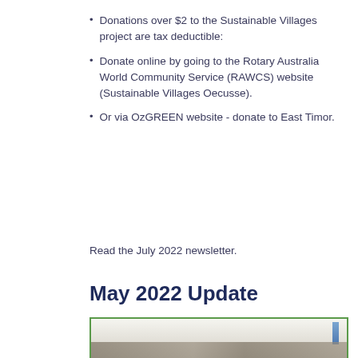Donations over $2 to the Sustainable Villages project are tax deductible:
Donate online by going to the Rotary Australia World Community Service (RAWCS) website (Sustainable Villages Oecusse).
Or via OzGREEN website - donate to East Timor.
Read the July 2022 newsletter.
May 2022 Update
[Figure (photo): A group of students or community members seated in a room, with a blue banner or flag visible on the right side.]